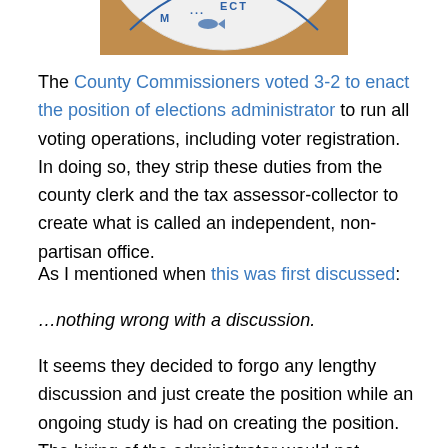[Figure (photo): Partial image of a round plate or badge with blue text/logo visible at the top of the page, on a wooden surface background.]
The County Commissioners voted 3-2 to enact the position of elections administrator to run all voting operations, including voter registration. In doing so, they strip these duties from the county clerk and the tax assessor-collector to create what is called an independent, non-partisan office.
As I mentioned when this was first discussed:
…nothing wrong with a discussion.
It seems they decided to forgo any lengthy discussion and just create the position while an ongoing study is had on creating the position. The hiring of the administrator would not happen until after the 2020 election, so, the interim